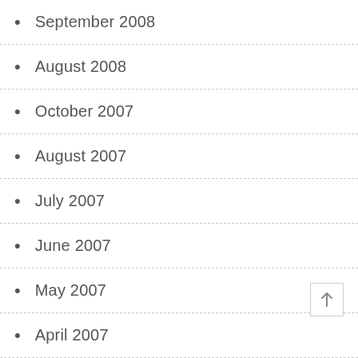September 2008
August 2008
October 2007
August 2007
July 2007
June 2007
May 2007
April 2007
March 2007
February 2007